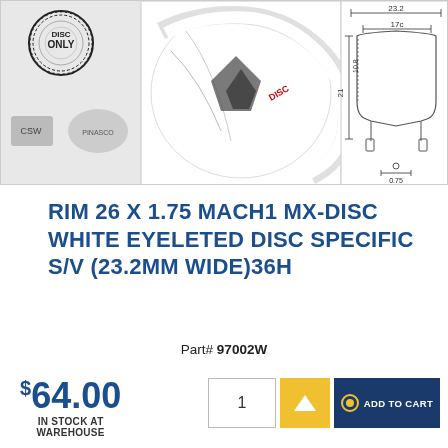[Figure (photo): Product images showing bicycle rim (Mach1 MX-Disc white), close-up photo of the rim, logos (ONLY, CSW, Pinasco), weight label '440g', and engineering cross-section diagram with dimensions 23.2, 17c, 10.8, 21, 0.75]
RIM 26 X 1.75 MACH1 MX-DISC WHITE EYELETED DISC SPECIFIC S/V (23.2MM WIDE)36H
Part# 97002W
$64.00 IN STOCK AT WAREHOUSE
1
ADD TO CART